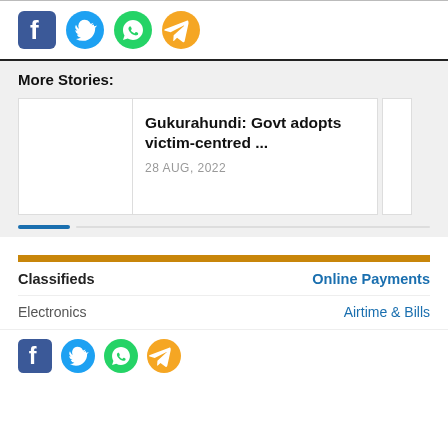[Figure (infographic): Social sharing icons row at top: Facebook (blue), Twitter (blue bird), WhatsApp (green), Telegram (orange)]
More Stories:
[Figure (infographic): Article card: thumbnail image placeholder on left, bold title 'Gukurahundi: Govt adopts victim-centred ...' with date '28 AUG, 2022', partial second card visible on right]
[Figure (infographic): Orange horizontal bar separator for footer sections]
Classifieds
Online Payments
Electronics
Airtime & Bills
[Figure (infographic): Social sharing icons row at bottom: Facebook (blue), Twitter (blue bird), WhatsApp (green), Telegram (orange)]